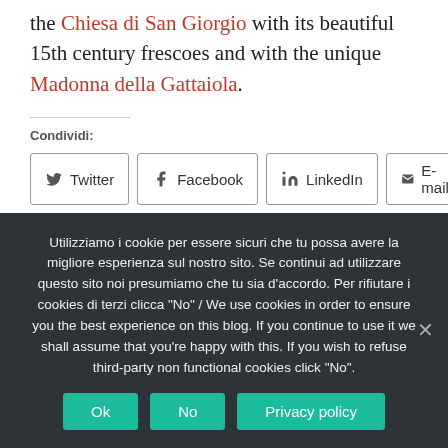the Chiesa di San Giorgio with its beautiful 15th century frescoes and with the unique Madonna della Gattaiola.
Condividi:
Twitter | Facebook | LinkedIn | E-mail | Stampa | Pinterest
Utilizziamo i cookie per essere sicuri che tu possa avere la migliore esperienza sul nostro sito. Se continui ad utilizzare questo sito noi presumiamo che tu sia d'accordo. Per rifiutare i cookies di terzi clicca "No" / We use cookies in order to ensure you the best experience on this blog. If you continue to use it we shall assume that you're happy with this. If you wish to refuse third-party non functional cookies click "No".
Ok | No | Privacy policy